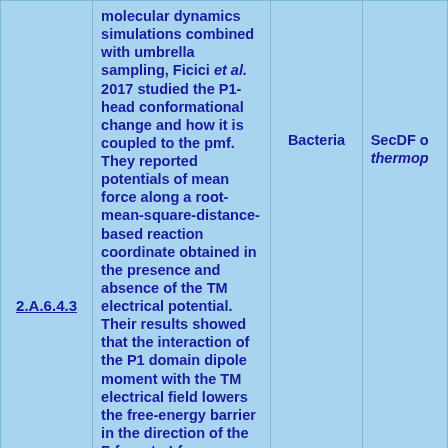| Reference | Description | Organism | Info |
| --- | --- | --- | --- |
| 2.A.6.4.3 | molecular dynamics simulations combined with umbrella sampling, Ficici et al. 2017 studied the P1-head conformational change and how it is coupled to the pmf. They reported potentials of mean force along a root-mean-square-distance-based reaction coordinate obtained in the presence and absence of the TM electrical potential. Their results showed that the interaction of the P1 domain dipole moment with the TM electrical field lowers the free-energy barrier in the direction of the F-form to I-form transition, two conformations that vary by the relative positioning of the P1-head subdomain—the large periplasmic domain of TtSecDF—which | Bacteria | SecDF of thermop... |